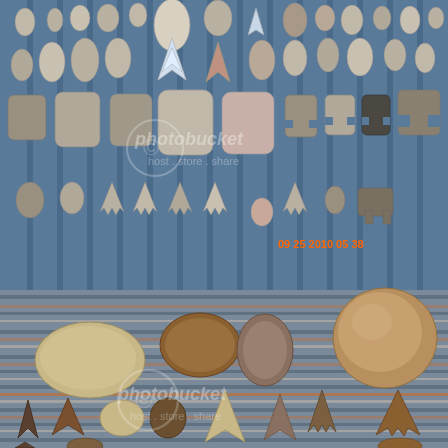[Figure (photo): A photograph of a collection of Native American stone artifacts — arrowheads, projectile points, scrapers, and other flint-knapped tools — laid out in rows on a blue corrugated surface (upper half) and a striped blanket/textile (lower half). The upper section displays dozens of flint and chert points ranging from small to large, including triangular arrowheads, leaf-shaped points, and scrapers. A digital camera timestamp '09 25 2010 05 38' appears in orange in the lower right of the upper section. Two Photobucket watermarks are overlaid on the image. The lower section shows larger stone tools including scrapers, a round grinding stone, and more arrowheads arranged on a striped woven textile.]